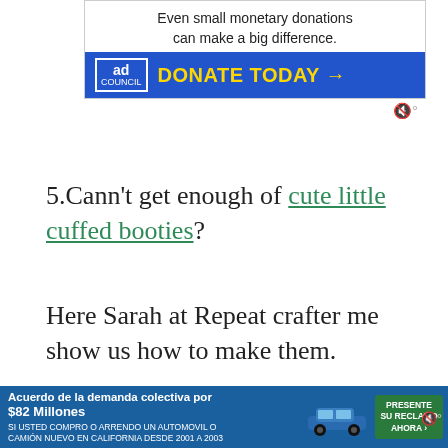[Figure (other): Advertisement banner: 'Even small monetary donations can make a big difference. DONATE TODAY →' with Ad Council logo on blue background]
5.Cann't get enough of cute little cuffed booties?
Here Sarah at Repeat crafter me show us how to make them.
[Figure (other): Cookie consent bar with brown/tan gradient top strip and white body containing privacy & cookies notice and Cookie Policy link]
Privacy & Cookies: This site uses cookies. By continuing to use this website, you agree to their use.
To find out more, including how to control cookies, see here: Cookie Policy
[Figure (other): Bottom advertisement: 'Acuerdo de la demanda colectiva por $82 Millones' auto class action lawsuit ad in Spanish with car image and 'PRESENTE SU RECLAMO AHORA' button]